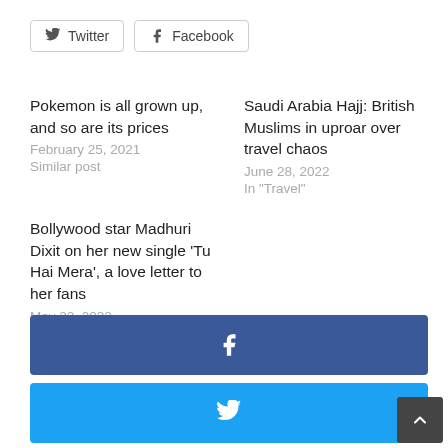Twitter
Facebook
Pokemon is all grown up, and so are its prices
February 25, 2021
Similar post
Saudi Arabia Hajj: British Muslims in uproar over travel chaos
June 28, 2022
In "Travel"
Bollywood star Madhuri Dixit on her new single ‘Tu Hai Mera’, a love letter to her fans
May 22, 2022
In "Fashion"
[Figure (other): Facebook share button bar (blue)]
[Figure (other): Twitter share button bar (light blue)]